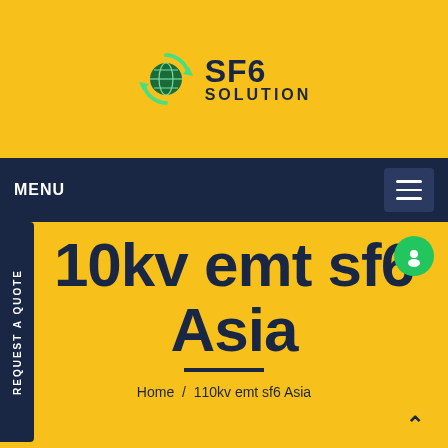[Figure (logo): SF6 Solution logo with green recycling/globe icon and bold dark blue text reading SF6 SOLUTION]
MENU
[Figure (other): Hamburger menu button (three horizontal lines) on dark navy background]
REQUEST A QUOTE (vertical side tab)
10kv emt sf6 Asia
Home  /  110kv emt sf6 Asia